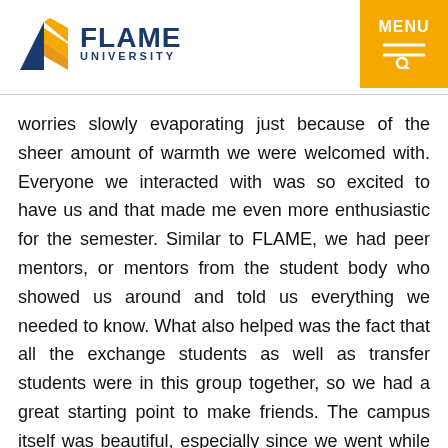FLAME UNIVERSITY | MENU
worries slowly evaporating just because of the sheer amount of warmth we were welcomed with. Everyone we interacted with was so excited to have us and that made me even more enthusiastic for the semester. Similar to FLAME, we had peer mentors, or mentors from the student body who showed us around and told us everything we needed to know. What also helped was the fact that all the exchange students as well as transfer students were in this group together, so we had a great starting point to make friends. The campus itself was beautiful, especially since we went while it was snowing. They had exceptional resources for the students in terms of any possible thing they may need ranging from their dining halls to the 24-hour availability of therapists for the students.